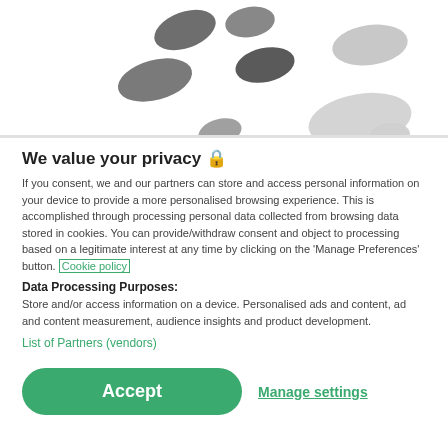[Figure (illustration): Decorative illustration with grey and light grey oval/pill shapes arranged on a white background, resembling abstract footprints or dots in various shades of grey]
We value your privacy 🔒
If you consent, we and our partners can store and access personal information on your device to provide a more personalised browsing experience. This is accomplished through processing personal data collected from browsing data stored in cookies. You can provide/withdraw consent and object to processing based on a legitimate interest at any time by clicking on the 'Manage Preferences' button. Cookie policy
Data Processing Purposes:
Store and/or access information on a device. Personalised ads and content, ad and content measurement, audience insights and product development.
List of Partners (vendors)
Accept
Manage settings